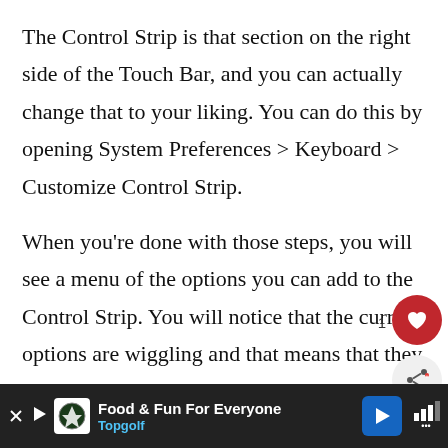The Control Strip is that section on the right side of the Touch Bar, and you can actually change that to your liking. You can do this by opening System Preferences > Keyboard > Customize Control Strip.
When you're done with those steps, you will see a menu of the options you can add to the Control Strip. You will notice that the current options are wiggling and that means that they are ready to be edited. Now just select and drag to the Control Strip the options you want to add. Keep in mind that you can only a [total of 4, any more you add will replace the ones...]
Food & Fun For Everyone Topgolf [advertisement]